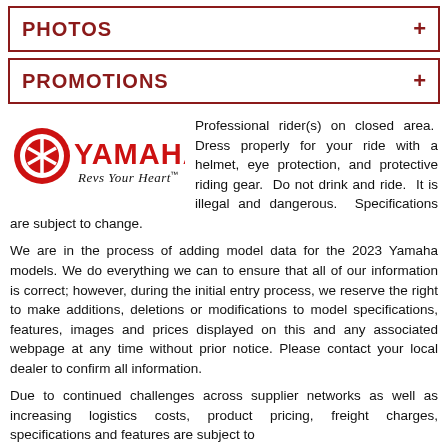PHOTOS +
PROMOTIONS +
[Figure (logo): Yamaha logo with Revs Your Heart tagline]
Professional rider(s) on closed area.  Dress properly for your ride with a helmet, eye protection, and protective riding gear.  Do not drink and ride.  It is illegal and dangerous.  Specifications are subject to change.
We are in the process of adding model data for the 2023 Yamaha models. We do everything we can to ensure that all of our information is correct; however, during the initial entry process, we reserve the right to make additions, deletions or modifications to model specifications, features, images and prices displayed on this and any associated webpage at any time without prior notice. Please contact your local dealer to confirm all information.
Due to continued challenges across supplier networks as well as increasing logistics costs, product pricing, freight charges, specifications and features are subject to